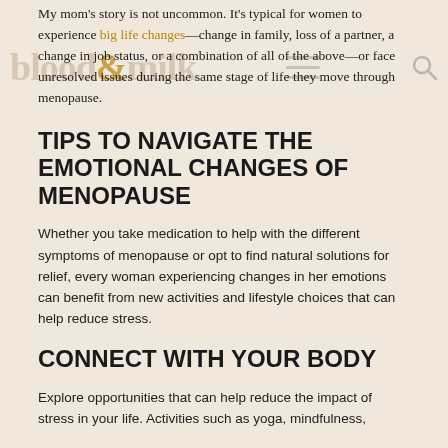blood & milk
My mom's story is not uncommon. It's typical for women to experience big life changes—change in family, loss of a partner, a change in job status, or a combination of all of the above—or face unresolved issues during the same stage of life they move through menopause.
TIPS TO NAVIGATE THE EMOTIONAL CHANGES OF MENOPAUSE
Whether you take medication to help with the different symptoms of menopause or opt to find natural solutions for relief, every woman experiencing changes in her emotions can benefit from new activities and lifestyle choices that can help reduce stress.
CONNECT WITH YOUR BODY
Explore opportunities that can help reduce the impact of stress in your life. Activities such as yoga, mindfulness,